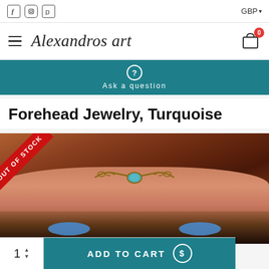f  Instagram  Pinterest  |  GBP
Alexandros art  [cart: 0]
? Ask a question
Forehead Jewelry, Turquoise
[Figure (photo): Close-up photo of a woman with auburn hair wearing a copper and turquoise forehead jewelry piece. An 'OUT OF STOCK' red ribbon is overlaid in the top-left corner.]
1  ADD TO CART  (s)